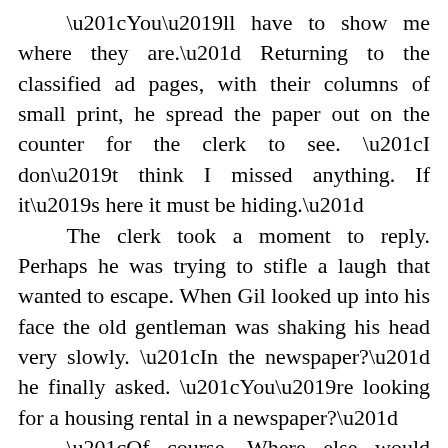“You’ll have to show me where they are.” Returning to the classified ad pages, with their columns of small print, he spread the paper out on the counter for the clerk to see. “I don’t think I missed anything. If it’s here it must be hiding.” The clerk took a moment to reply. Perhaps he was trying to stifle a laugh that wanted to escape. When Gil looked up into his face the old gentleman was shaking his head very slowly. “In the newspaper?” he finally asked. “You’re looking for a housing rental in a newspaper?” “Of course. Where else would I.........?” Suddenly the light was dawning. Could it be that we had spent the whole day looking in the wrong place? “Where would